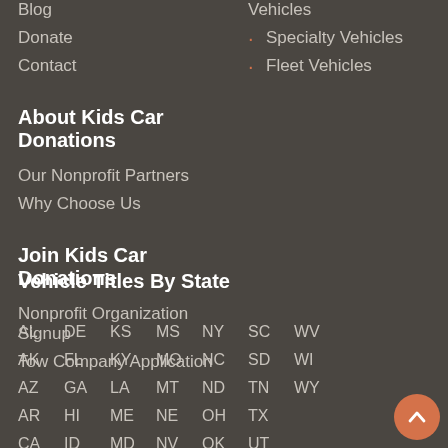Blog
Donate
Contact
Vehicles
Specialty Vehicles
Fleet Vehicles
About Kids Car Donations
Our Nonprofit Partners
Why Choose Us
Join Kids Car Donations
Nonprofit Organization Signup
Tow Company Application
Vehicle Titles By State
| AL | DE | KS | MS | NY | SC | WV |
| AK | FL | KY | MO | NC | SD | WI |
| AZ | GA | LA | MT | ND | TN | WY |
| AR | HI | ME | NE | OH | TX |  |
| CA | ID | MD | NV | OK | UT |  |
| CO | IL | MA | NH | OR | VT |  |